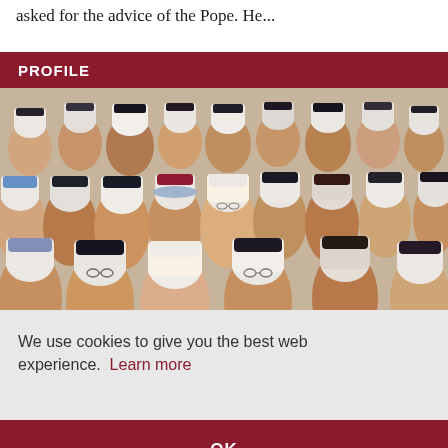asked for the advice of the Pope. He...
PROFILE
[Figure (photo): A large crowd of Catholic nuns and sisters wearing various habits and veils, gathered together outdoors.]
We use cookies to give you the best web experience. Learn more
was
ities
OK